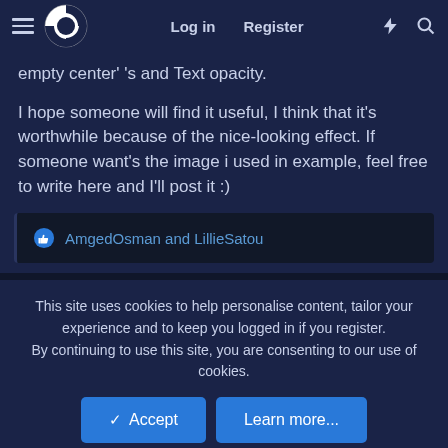Log in | Register
empty center' 's and Text opacity.
I hope someone will find it useful, I think that it's worthwhile because of the nice-looking effect. If someone want's the image i used in example, feel free to write here and I'll post it :)
AmgedOsman and LillieSatou
This site uses cookies to help personalise content, tailor your experience and to keep you logged in if you register.
By continuing to use this site, you are consenting to our use of cookies.
Accept | Learn more...